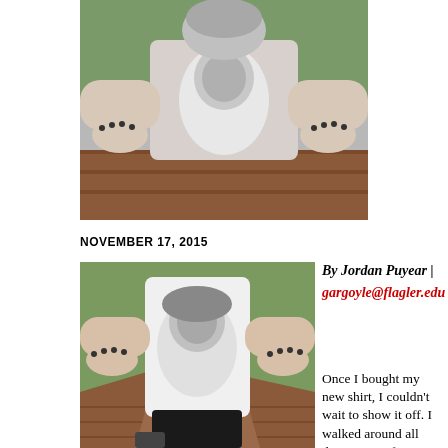[Figure (photo): Person wearing a white t-shirt with a black and white portrait print, arms outstretched showing palms, outdoors on a brick pathway]
NOVEMBER 17, 2015
[Figure (photo): Person wearing a white t-shirt with a black and white portrait print, arms outstretched showing palms, outdoors on a brick pathway - larger full-body view]
By Jordan Puyear | gargoyle@flagler.edu
Once I bought my new shirt, I couldn't wait to show it off. I walked around all day, went to five classes, and my club